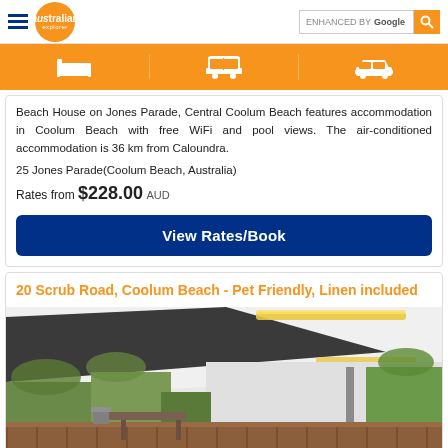Australian Explorer - ENHANCED BY Google [search]
[Figure (infographic): Orange navigation bar with three icons: bed/accommodation, bus/transport, car/transport]
Beach House on Jones Parade, Central Coolum Beach features accommodation in Coolum Beach with free WiFi and pool views. The air-conditioned accommodation is 36 km from Caloundra.
25 Jones Parade(Coolum Beach, Australia)
Rates from $228.00 AUD
View Rates/Book
20 Scrub Road, Coolum Beach - Pet Friendly, Linen included
[Figure (photo): Outdoor covered patio area with white shade sail/roof, heater lamp, outdoor furniture, and garden with palm trees in the background]